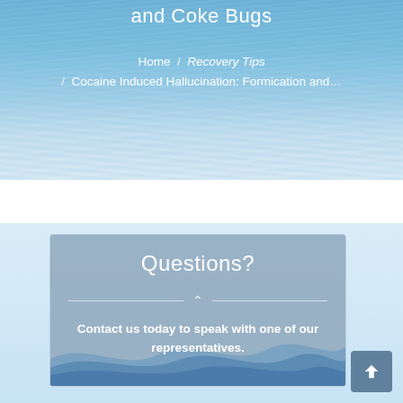and Coke Bugs
Home / Recovery Tips / Cocaine Induced Hallucination: Formication and...
Questions?
Contact us today to speak with one of our representatives.